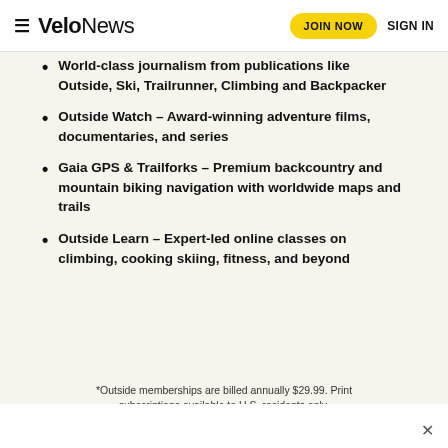VeloNews | JOIN NOW | SIGN IN
World-class journalism from publications like Outside, Ski, Trailrunner, Climbing and Backpacker
Outside Watch – Award-winning adventure films, documentaries, and series
Gaia GPS & Trailforks – Premium backcountry and mountain biking navigation with worldwide maps and trails
Outside Learn – Expert-led online classes on climbing, cooking skiing, fitness, and beyond
*Outside memberships are billed annually $29.99. Print subscriptions available to U.S. residents only.